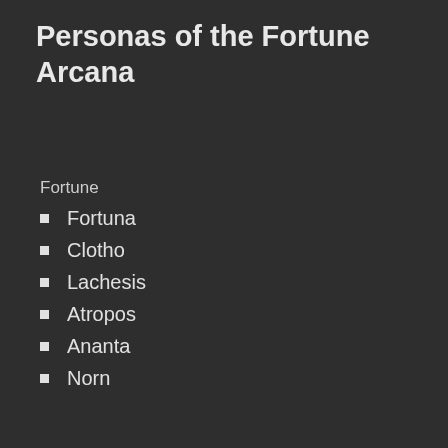Personas of the Fortune Arcana
Fortune
Fortuna
Clotho
Lachesis
Atropos
Ananta
Norn
We use cookies to give you the best online experience. By agreeing you accept the use of cookies in accordance with our cookie policy.
MY PREFERENCES  I DECLINE  I ACCEPT
Cookie Policy